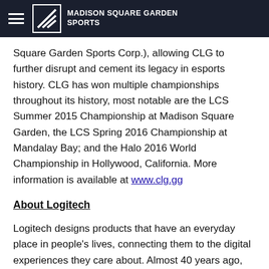MADISON SQUARE GARDEN SPORTS
Square Garden Sports Corp.), allowing CLG to further disrupt and cement its legacy in esports history. CLG has won multiple championships throughout its history, most notable are the LCS Summer 2015 Championship at Madison Square Garden, the LCS Spring 2016 Championship at Mandalay Bay; and the Halo 2016 World Championship in Hollywood, California. More information is available at www.clg.gg
About Logitech
Logitech designs products that have an everyday place in people's lives, connecting them to the digital experiences they care about. Almost 40 years ago, Logitech started connecting people through computers, and now it's a multi-brand company designing products that bring people together through music, gaming, video, and computing. Brands of Logitech include Logitech